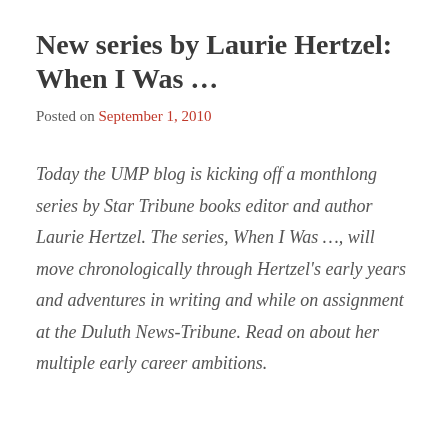New series by Laurie Hertzel: When I Was …
Posted on September 1, 2010
Today the UMP blog is kicking off a monthlong series by Star Tribune books editor and author Laurie Hertzel. The series, When I Was …, will move chronologically through Hertzel's early years and adventures in writing and while on assignment at the Duluth News-Tribune. Read on about her multiple early career ambitions.